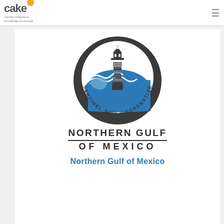cake Climate Adaptation Knowledge Exchange
[Figure (logo): Sentinel Site Cooperative circular logo featuring a lighthouse with blue ocean waves, with text 'SENTINEL SITE COOPERATIVE' around the bottom of the circle]
NORTHERN GULF OF MEXICO
Northern Gulf of Mexico